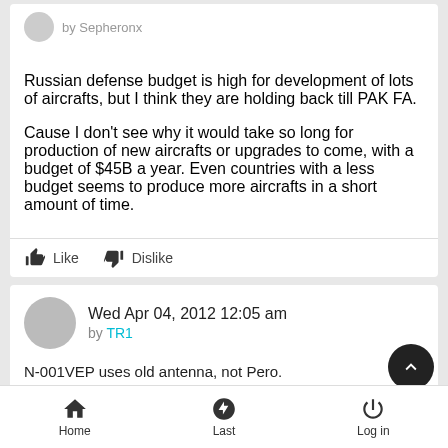Russian defense budget is high for development of lots of aircrafts, but I think they are holding back till PAK FA.

Cause I don't see why it would take so long for production of new aircrafts or upgrades to come, with a budget of $45B a year. Even countries with a less budget seems to produce more aircrafts in a short amount of time.
Like  Dislike
Wed Apr 04, 2012 12:05 am
by TR1
N-001VEP uses old antenna, not Pero.

No production Pero has been retrofitted to Flankers.
Home  Last  Log in